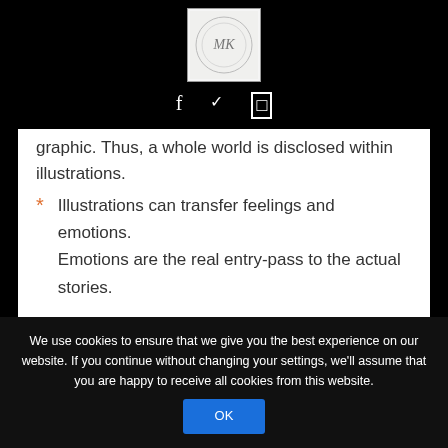[Figure (logo): Small square logo with 'MK' initials and circular design on light background]
f  ✓  ☐ (social media icons: Facebook, Twitter, Instagram)
graphic. Thus, a whole world is disclosed within illustrations.
* Illustrations can transfer feelings and emotions. Emotions are the real entry-pass to the actual stories.
Gleichzeitig hat Maria Karipidou At the same time, Maria Karipidou created a graphic recording of the talk: a visual report. She has been using this technique for a
We use cookies to ensure that we give you the best experience on our website. If you continue without changing your settings, we'll assume that you are happy to receive all cookies from this website.